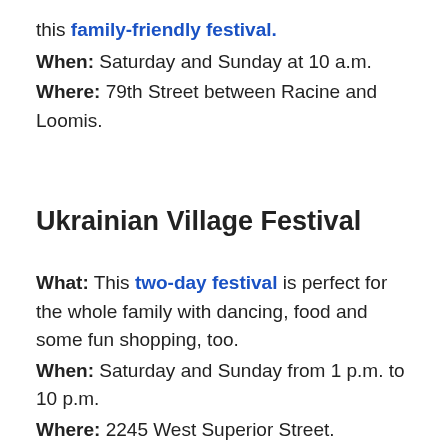this family-friendly festival.
When: Saturday and Sunday at 10 a.m.
Where: 79th Street between Racine and Loomis.
Ukrainian Village Festival
What: This two-day festival is perfect for the whole family with dancing, food and some fun shopping, too.
When: Saturday and Sunday from 1 p.m. to 10 p.m.
Where: 2245 West Superior Street.